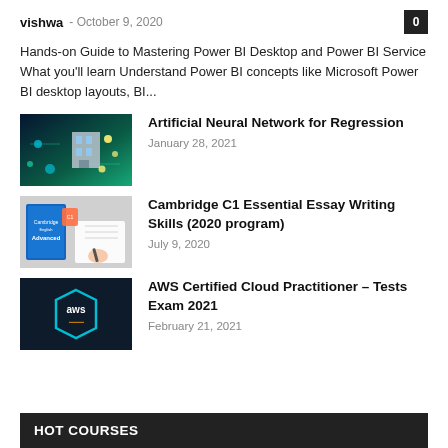vishwa - October 9, 2020
Hands-on Guide to Mastering Power BI Desktop and Power BI Service What you'll learn Understand Power BI concepts like Microsoft Power BI desktop layouts, BI...
[Figure (illustration): Thumbnail image for Artificial Neural Network for Regression course - tech/AI themed with blue circuit board and building]
Artificial Neural Network for Regression
January 28, 2021
[Figure (illustration): Thumbnail image for Cambridge C1 Essential Essay Writing Skills course - showing Cambridge English Advanced book and a person writing]
Cambridge C1 Essential Essay Writing Skills (2020 program)
July 9, 2020
[Figure (logo): Thumbnail image for AWS Certified Cloud Practitioner course - dark blue background with AWS hexagon logo]
AWS Certified Cloud Practitioner – Tests Exam 2021
February 21, 2021
HOT COURSES